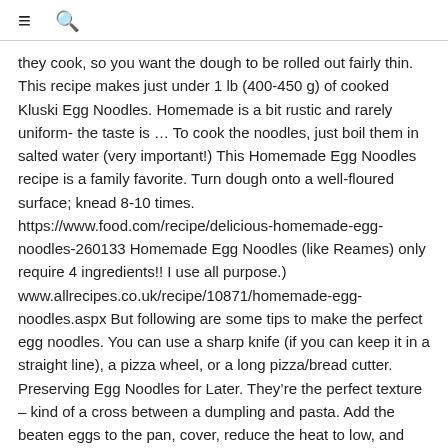≡ 🔍
they cook, so you want the dough to be rolled out fairly thin. This recipe makes just under 1 lb (400-450 g) of cooked Kluski Egg Noodles. Homemade is a bit rustic and rarely uniform- the taste is … To cook the noodles, just boil them in salted water (very important!) This Homemade Egg Noodles recipe is a family favorite. Turn dough onto a well-floured surface; knead 8-10 times. https://www.food.com/recipe/delicious-homemade-egg-noodles-260133 Homemade Egg Noodles (like Reames) only require 4 ingredients!! I use all purpose.) www.allrecipes.co.uk/recipe/10871/homemade-egg-noodles.aspx But following are some tips to make the perfect egg noodles. You can use a sharp knife (if you can keep it in a straight line), a pizza wheel, or a long pizza/bread cutter. Preserving Egg Noodles for Later. They're the perfect texture – kind of a cross between a dumpling and pasta. Add the beaten eggs to the pan, cover, reduce the heat to low, and cook until the eggs are set, about 5 minutes. Through the years, we've made homemade pasta weekly, saying goodbye to store-